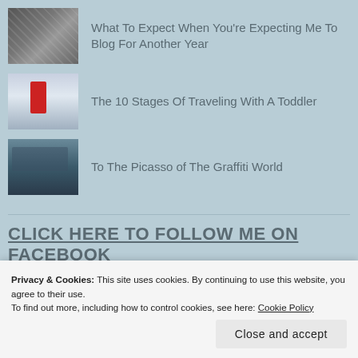What To Expect When You're Expecting Me To Blog For Another Year
The 10 Stages Of Traveling With A Toddler
To The Picasso of The Graffiti World
CLICK HERE TO FOLLOW ME ON FACEBOOK
Privacy & Cookies: This site uses cookies. By continuing to use this website, you agree to their use.
To find out more, including how to control cookies, see here: Cookie Policy
Close and accept